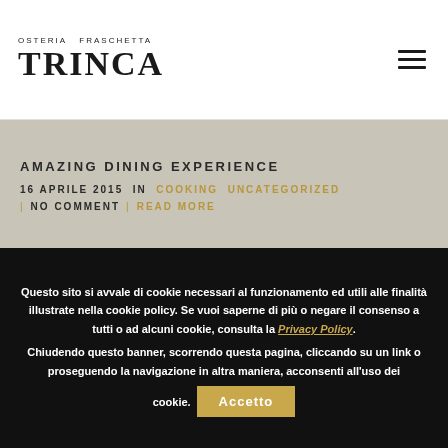OSTERIA FRASCHETTA TRINCA
AMAZING DINING EXPERIENCE
16 APRILE 2015 IN COOKING UNCATEGORIZED | NO COMMENT | READ MORE
Questo sito si avvale di cookie necessari al funzionamento ed utili alle finalità illustrate nella cookie policy. Se vuoi saperne di più o negare il consenso a tutti o ad alcuni cookie, consulta la Privacy Policy. Chiudendo questo banner, scorrendo questa pagina, cliccando su un link o proseguendo la navigazione in altra maniera, acconsenti all'uso dei cookie. Accetto